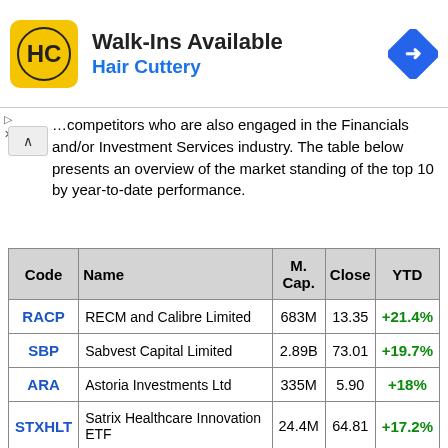[Figure (logo): Hair Cuttery advertisement banner with yellow HC logo, 'Walk-Ins Available' headline, 'Hair Cuttery' subheading in blue, and a blue diamond directional road sign icon on the right]
competitors who are also engaged in the Financials and/or Investment Services industry. The table below presents an overview of the market standing of the top 10 by year-to-date performance.
| Code | Name | M. Cap. | Close | YTD |
| --- | --- | --- | --- | --- |
| RACP | RECM and Calibre Limited | 683M | 13.35 | +21.4% |
| SBP | Sabvest Capital Limited | 2.89B | 73.01 | +19.7% |
| ARA | Astoria Investments Ltd | 335M | 5.90 | +18% |
| STXHLT | Satrix Healthcare Innovation ETF | 24.4M | 64.81 | +17.2% |
|  | NewGold |  |  |  |